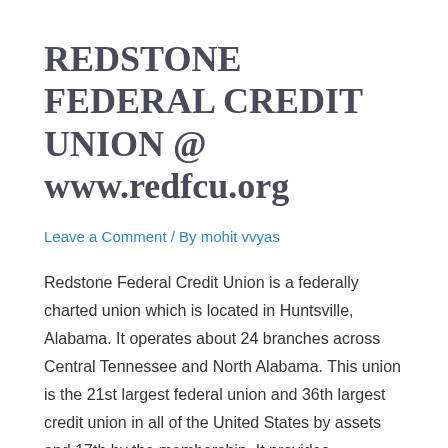REDSTONE FEDERAL CREDIT UNION @ www.redfcu.org
Leave a Comment / By mohit vvyas
Redstone Federal Credit Union is a federally charted union which is located in Huntsville, Alabama. It operates about 24 branches across Central Tennessee and North Alabama. This union is the 21st largest federal union and 36th largest credit union in all of the United States by assets and 17th by the membership. It provides outstanding …
Read More »